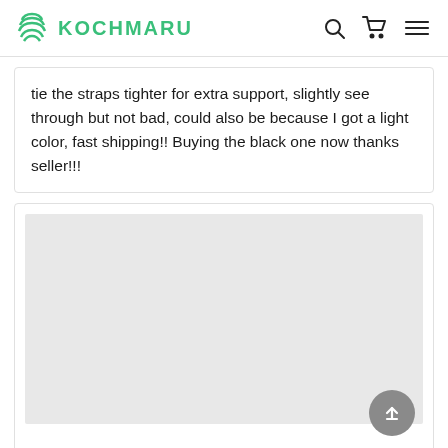KOCHMARU
tie the straps tighter for extra support, slightly see through but not bad, could also be because I got a light color, fast shipping!! Buying the black one now thanks seller!!!
[Figure (other): Light gray placeholder image area below a review card, with a back-to-top circular button in the bottom right corner]